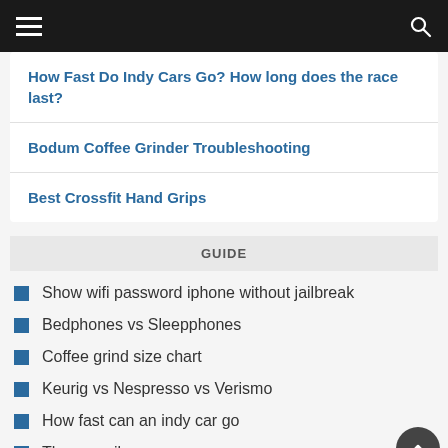Navigation bar with hamburger menu and search icon
How Fast Do Indy Cars Go? How long does the race last?
Bodum Coffee Grinder Troubleshooting
Best Crossfit Hand Grips
GUIDE
Show wifi password iphone without jailbreak
Bedphones vs Sleepphones
Coffee grind size chart
Keurig vs Nespresso vs Verismo
How fast can an indy car go
Thermocoil